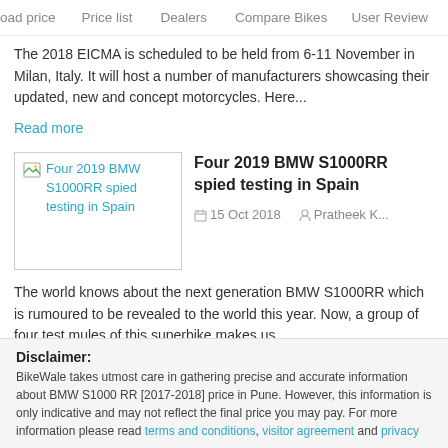oad price   Price list   Dealers   Compare Bikes   User Review
The 2018 EICMA is scheduled to be held from 6-11 November in Milan, Italy. It will host a number of manufacturers showcasing their updated, new and concept motorcycles. Here...
Read more
[Figure (photo): Thumbnail image placeholder for article: Four 2019 BMW S1000RR spied testing in Spain]
Four 2019 BMW S1000RR spied testing in Spain
15 Oct 2018   Pratheek K...
The world knows about the next generation BMW S1000RR which is rumoured to be revealed to the world this year. Now, a group of four test mules of this superbike makes us...
Read more
Read all news
Disclaimer: BikeWale takes utmost care in gathering precise and accurate information about BMW S1000 RR [2017-2018] price in Pune. However, this information is only indicative and may not reflect the final price you may pay. For more information please read terms and conditions, visitor agreement and privacy